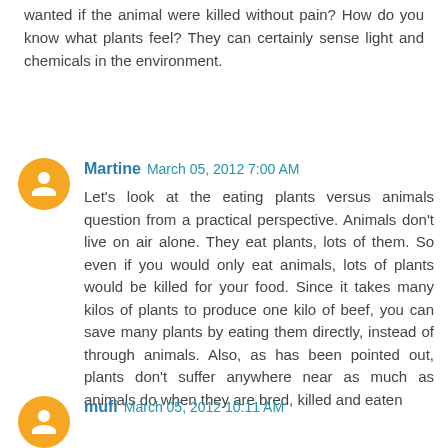wanted if the animal were killed without pain? How do you know what plants feel? They can certainly sense light and chemicals in the environment.
Martine March 05, 2012 7:00 AM
Let's look at the eating plants versus animals question from a practical perspective. Animals don't live on air alone. They eat plants, lots of them. So even if you would only eat animals, lots of plants would be killed for your food. Since it takes many kilos of plants to produce one kilo of beef, you can save many plants by eating them directly, instead of through animals. Also, as has been pointed out, plants don't suffer anywhere near as much as animals do when they are bred, killed and eaten
mufi March 05, 2012 10:11 AM